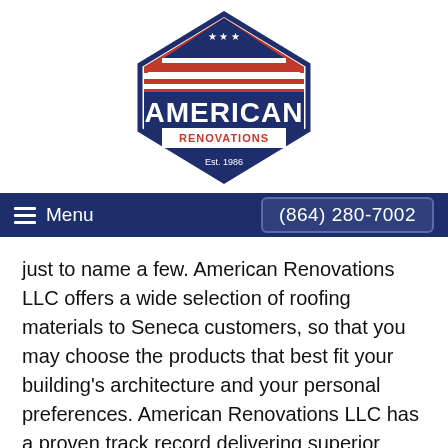[Figure (logo): American Renovations LLC logo — diamond/hexagon shape with navy blue outline, red and white stripes at top with white stars, text 'AMERICAN' in large navy letters, 'RENOVATIONS' in smaller red letters on white banner, 'Est. 1986' below]
Menu  (864) 280-7002
just to name a few. American Renovations LLC offers a wide selection of roofing materials to Seneca customers, so that you may choose the products that best fit your building's architecture and your personal preferences. American Renovations LLC has a proven track record delivering superior roofing installations in Seneca. Let our experienced roofers help you determine the right solution for your Seneca roofing needs.